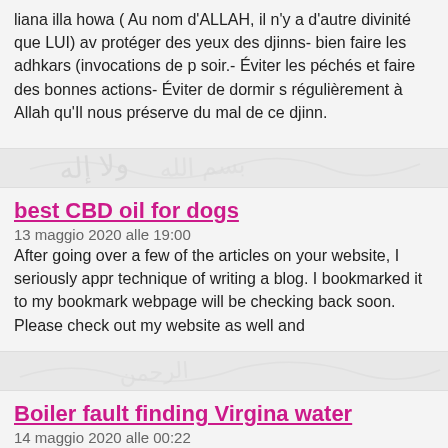liana illa howa ( Au nom d ALLAH, il n'y a d'autre divinité que LUI) av protéger des yeux des djinns- bien faire les adhkars (invocations de p soir.- Éviter les péchés et faire des bonnes actions- Éviter de dormir s régulièrement à Allah qu'Il nous préserve du mal de ce djinn.
best CBD oil for dogs
13 maggio 2020 alle 19:00
After going over a few of the articles on your website, I seriously appr technique of writing a blog. I bookmarked it to my bookmark webpage will be checking back soon. Please check out my website as well and
Boiler fault finding Virgina water
14 maggio 2020 alle 00:22
Very nice style and good content material , nothing else we want : D.
free sms number online
14 maggio 2020 alle 00:31
It's actually a cool and helpful piece of information. I'm glad that you s